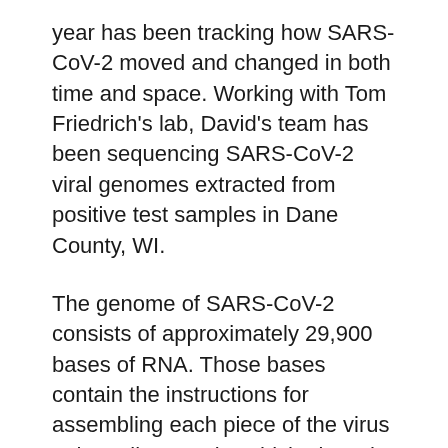year has been tracking how SARS-CoV-2 moved and changed in both time and space. Working with Tom Friedrich's lab, David's team has been sequencing SARS-CoV-2 viral genomes extracted from positive test samples in Dane County, WI.
The genome of SARS-CoV-2 consists of approximately 29,900 bases of RNA. Those bases contain the instructions for assembling each piece of the virus – the spike protein, which gives the virus access to host cells, along with 28 other known proteins.
When a virus replicates, there is a small chance that any number of those bases will be copied incorrectly. Every mutation that is introduced could result in a change in phenotype. Those